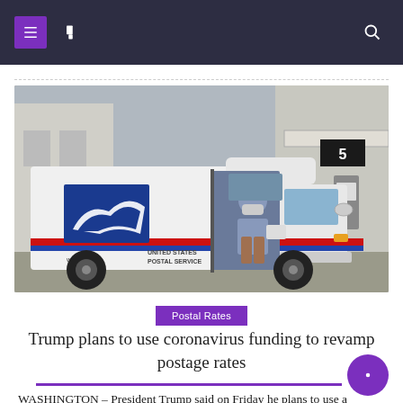Navigation header bar with menu icons and search
[Figure (photo): A USPS mail carrier wearing a face mask sits in the driver's seat of a white United States Postal Service delivery truck, with the USPS eagle logo visible on the side and the truck door open. The text 'UNITED STATES POSTAL SERVICE' and 'www.u' are visible on the truck. A gas station is visible in the background.]
Postal Rates
Trump plans to use coronavirus funding to revamp postage rates
WASHINGTON – President Trump said on Friday he plans to use a coronavirus relief law as leverage to force the U.S.